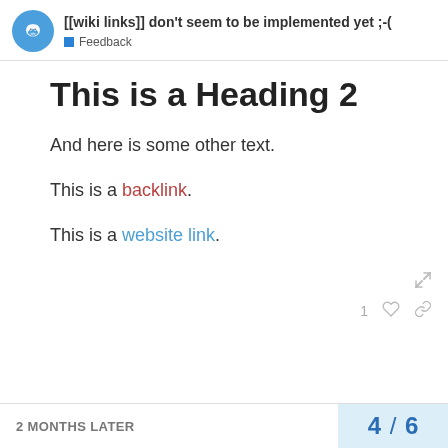[[wiki links]] don't seem to be implemented yet ;-( Feedback
This is a Heading 2
And here is some other text.
This is a backlink.
This is a website link.
2 MONTHS LATER   4 / 6